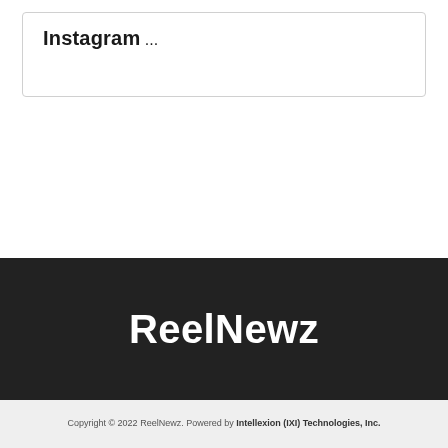Instagram
...
ReelNewz
Copyright © 2022 ReelNewz. Powered by Intellexion (IXI) Technologies, Inc.